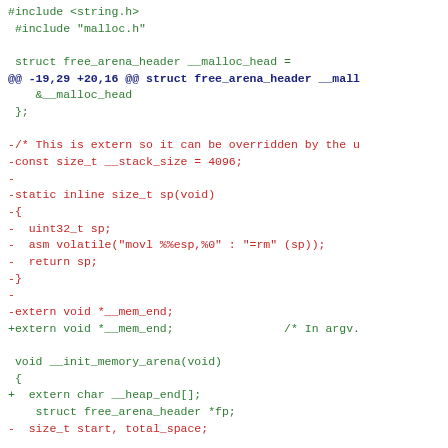Code diff showing changes to malloc/memory arena initialization in C source file